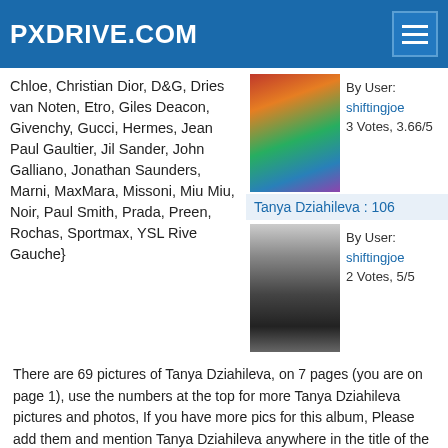PXDRIVE.COM
Chloe, Christian Dior, D&G, Dries van Noten, Etro, Giles Deacon, Givenchy, Gucci, Hermes, Jean Paul Gaultier, Jil Sander, John Galliano, Jonathan Saunders, Marni, MaxMara, Missoni, Miu Miu, Noir, Paul Smith, Prada, Preen, Rochas, Sportmax, YSL Rive Gauche}
[Figure (photo): A color photo of a person outdoors in a red/orange outfit near a green structure, mountains in background]
By User: shiftingjoe
3 Votes, 3.66/5
Tanya Dziahileva : 106
[Figure (photo): Black and white portrait photo of a young woman with blonde hair pulled back, looking over her shoulder]
By User: shiftingjoe
2 Votes, 5/5
There are 69 pictures of Tanya Dziahileva, on 7 pages (you are on page 1), use the numbers at the top for more Tanya Dziahileva pictures and photos, If you have more pics for this album, Please add them and mention Tanya Dziahileva anywhere in the title of the picture or in its description so we can pick it up and put it in this album